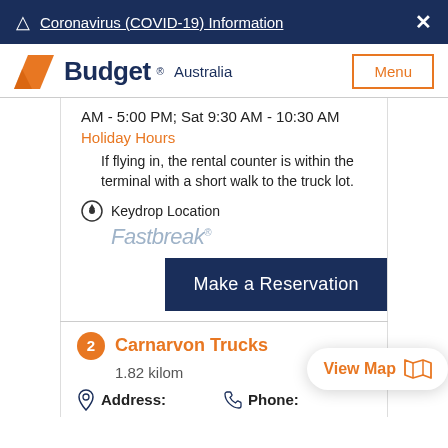⚠ Coronavirus (COVID-19) Information ×
[Figure (logo): Budget Australia logo with orange chevron]
AM - 5:00 PM; Sat 9:30 AM - 10:30 AM
Holiday Hours
If flying in, the rental counter is within the terminal with a short walk to the truck lot.
Keydrop Location
Fastbreak®
Make a Reservation
2 Carnarvon Trucks
1.82 kilom
Address:
Phone:
View Map